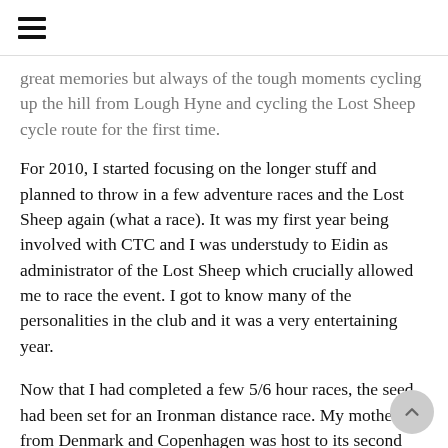≡
great memories but always of the tough moments cycling up the hill from Lough Hyne and cycling the Lost Sheep cycle route for the first time.
For 2010, I started focusing on the longer stuff and planned to throw in a few adventure races and the Lost Sheep again (what a race). It was my first year being involved with CTC and I was understudy to Eidin as administrator of the Lost Sheep which crucially allowed me to race the event. I got to know many of the personalities in the club and it was a very entertaining year.
Now that I had completed a few 5/6 hour races, the seed had been set for an Ironman distance race. My mother is from Denmark and Copenhagen was host to its second Challenge race on a relatively flat course. I also put my hand up to be race director for the Lost Sheep so I had a tough year ahead. Through CTC, I found a